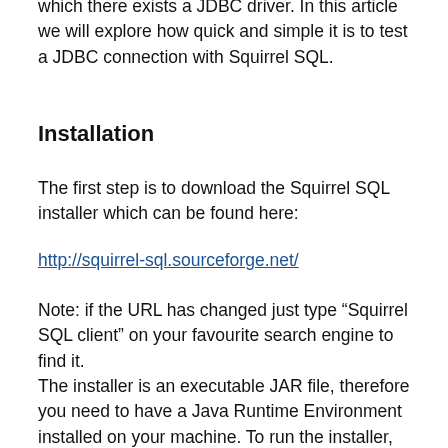which there exists a JDBC driver. In this article we will explore how quick and simple it is to test a JDBC connection with Squirrel SQL.
Installation
The first step is to download the Squirrel SQL installer which can be found here:
http://squirrel-sql.sourceforge.net/
Note: if the URL has changed just type “Squirrel SQL client” on your favourite search engine to find it.
The installer is an executable JAR file, therefore you need to have a Java Runtime Environment installed on your machine. To run the installer, double-click on the JAR file or type on the command line: